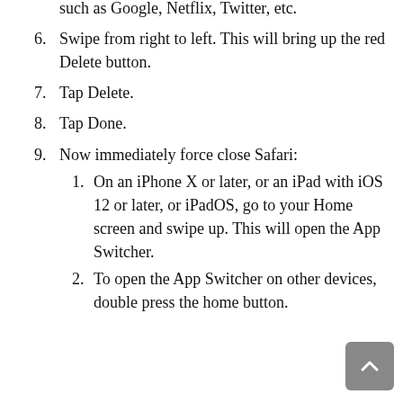5. Enter the website name that produces this error, such as Google, Netflix, Twitter, etc.
6. Swipe from right to left. This will bring up the red Delete button.
7. Tap Delete.
8. Tap Done.
9. Now immediately force close Safari:
1. On an iPhone X or later, or an iPad with iOS 12 or later, or iPadOS, go to your Home screen and swipe up. This will open the App Switcher.
2. To open the App Switcher on other devices, double press the home button.